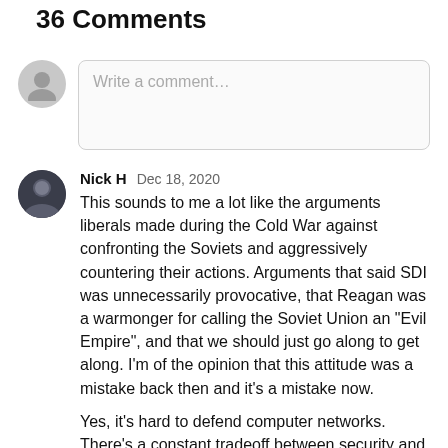36 Comments
Write a comment…
Nick H   Dec 18, 2020
This sounds to me a lot like the arguments liberals made during the Cold War against confronting the Soviets and aggressively countering their actions. Arguments that said SDI was unnecessarily provocative, that Reagan was a warmonger for calling the Soviet Union an "Evil Empire", and that we should just go along to get along. I'm of the opinion that this attitude was a mistake back then and it's a mistake now.

Yes, it's hard to defend computer networks. There's a constant tradeoff between security and usability. You